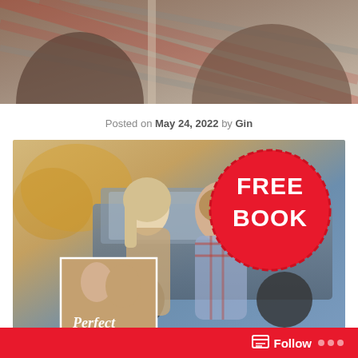[Figure (photo): Top portion of a photo showing two people in plaid shirts, cropped to show torsos/shoulders]
Posted on May 24, 2022 by Gin
[Figure (photo): Promotional image for a free book: a couple smiling near a pickup truck outdoors. A large red circle badge reads FREE BOOK. In the lower left corner is an inset book cover showing a couple with cursive title text starting with 'Perfect'.]
Follow